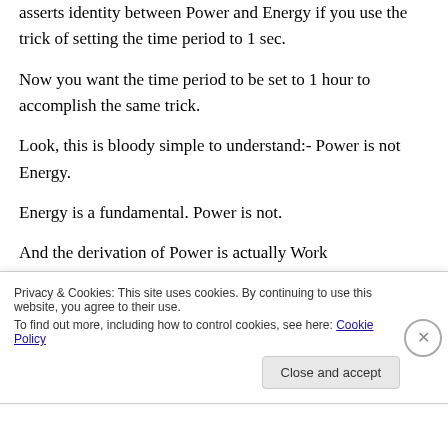asserts identity between Power and Energy if you use the trick of setting the time period to 1 sec.
Now you want the time period to be set to 1 hour to accomplish the same trick.
Look, this is bloody simple to understand:- Power is not Energy.
Energy is a fundamental. Power is not.
And the derivation of Power is actually Work
Privacy & Cookies: This site uses cookies. By continuing to use this website, you agree to their use.
To find out more, including how to control cookies, see here: Cookie Policy